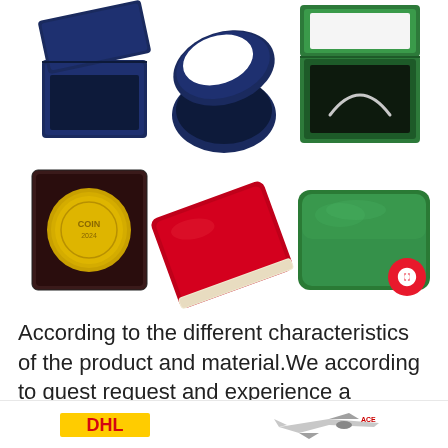[Figure (photo): Six product images in two rows: top row shows three open jewelry/coin boxes (navy blue square box, navy blue rounded ring box, green rectangular box with bracelet); bottom row shows three closed/decorative boxes (dark square box with gold coin, red velvet tilted box, green rectangular velvet box). A red circular chat icon is visible at the bottom right of the bottom row.]
According to the different characteristics of the product and material.We according to guest request and experience a different way of packing.
[Figure (photo): Bottom strip showing DHL logo on the left and an airplane (ACE/airline) on the right, indicating shipping options.]